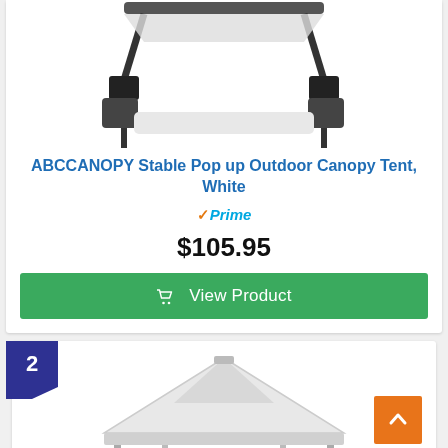[Figure (photo): Top portion of a white pop-up canopy tent frame with black hardware components, partially cropped at top]
ABCCANOPY Stable Pop up Outdoor Canopy Tent, White
✓Prime
$105.95
View Product
2
[Figure (photo): White pop-up canopy tent with white roof and metal frame legs, partially visible at bottom of page]